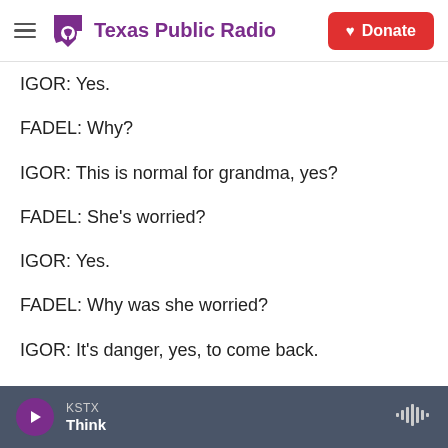Texas Public Radio — Donate
IGOR: Yes.
FADEL: Why?
IGOR: This is normal for grandma, yes?
FADEL: She's worried?
IGOR: Yes.
FADEL: Why was she worried?
IGOR: It's danger, yes, to come back.
KSTX Think